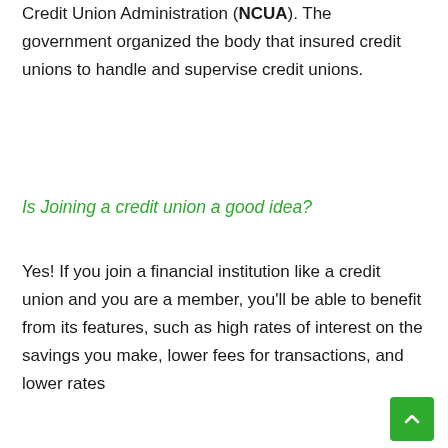Credit Union Administration (NCUA). The government organized the body that insured credit unions to handle and supervise credit unions.
Is Joining a credit union a good idea?
Yes! If you join a financial institution like a credit union and you are a member, you'll be able to benefit from its features, such as high rates of interest on the savings you make, lower fees for transactions, and lower rates